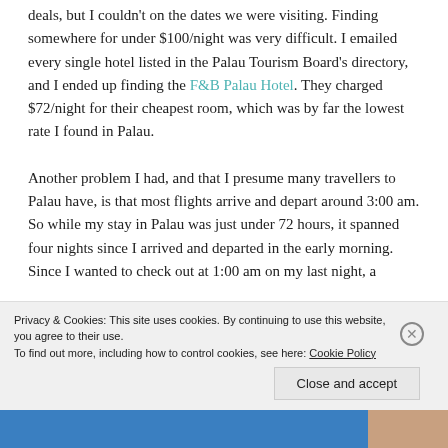deals, but I couldn't on the dates we were visiting. Finding somewhere for under $100/night was very difficult. I emailed every single hotel listed in the Palau Tourism Board's directory, and I ended up finding the F&B Palau Hotel. They charged $72/night for their cheapest room, which was by far the lowest rate I found in Palau.

Another problem I had, and that I presume many travellers to Palau have, is that most flights arrive and depart around 3:00 am. So while my stay in Palau was just under 72 hours, it spanned four nights since I arrived and departed in the early morning. Since I wanted to check out at 1:00 am on my last night, a
Privacy & Cookies: This site uses cookies. By continuing to use this website, you agree to their use. To find out more, including how to control cookies, see here: Cookie Policy
Close and accept